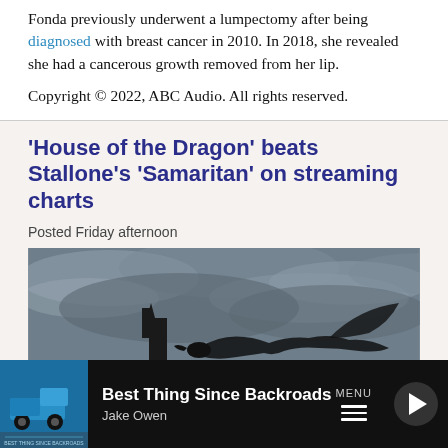Fonda previously underwent a lumpectomy after being diagnosed with breast cancer in 2010. In 2018, she revealed she had a cancerous growth removed from her lip.
Copyright © 2022, ABC Audio. All rights reserved.
'House of the Dragon' beats Stallone's 'Samaritan' on streaming charts
Posted Friday afternoon
[Figure (photo): Dark atmospheric image showing a silhouetted dragon-like creature against a stormy sky with clouds, likely a still from 'House of the Dragon']
Best Thing Since Backroads  Jake Owen  MENU ▶